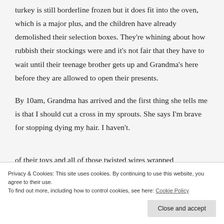turkey is still borderline frozen but it does fit into the oven, which is a major plus, and the children have already demolished their selection boxes. They're whining about how rubbish their stockings were and it's not fair that they have to wait until their teenage brother gets up and Grandma's here before they are allowed to open their presents.
By 10am, Grandma has arrived and the first thing she tells me is that I should cut a cross in my sprouts. She says I'm brave for stopping dying my hair. I haven't.
of their toys and all of those twisted wires wrapped
Privacy & Cookies: This site uses cookies. By continuing to use this website, you agree to their use.
To find out more, including how to control cookies, see here: Cookie Policy
Close and accept